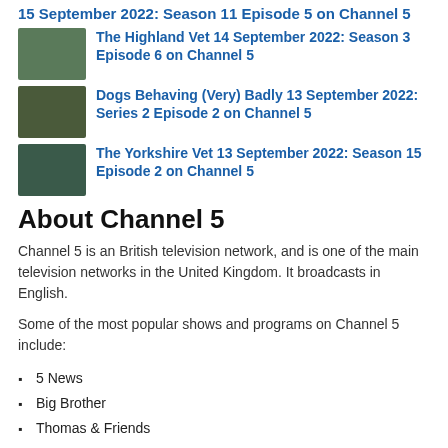15 September 2022: Season 11 Episode 5 on Channel 5
The Highland Vet 14 September 2022: Season 3 Episode 6 on Channel 5
Dogs Behaving (Very) Badly 13 September 2022: Series 2 Episode 2 on Channel 5
The Yorkshire Vet 13 September 2022: Season 15 Episode 2 on Channel 5
About Channel 5
Channel 5 is an British television network, and is one of the main television networks in the United Kingdom. It broadcasts in English.
Some of the most popular shows and programs on Channel 5 include:
5 News
Big Brother
Thomas & Friends